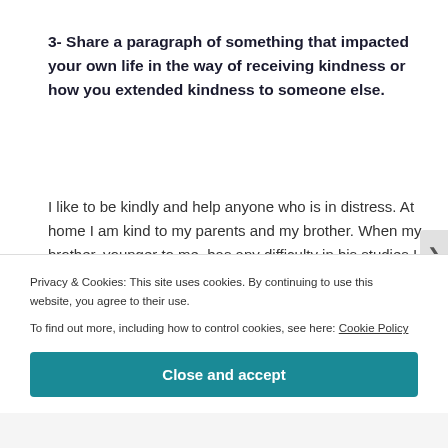3- Share a paragraph of something that impacted your own life in the way of receiving kindness or how you extended kindness to someone else.
I like to be kindly and help anyone who is in distress. At home I am kind to my parents and my brother. When my brother, younger to me, has any difficulty in his studies I help him. I also take care of him if he falls sick. At school I am helpful to my friends and classmates. If
Privacy & Cookies: This site uses cookies. By continuing to use this website, you agree to their use.
To find out more, including how to control cookies, see here: Cookie Policy
Close and accept